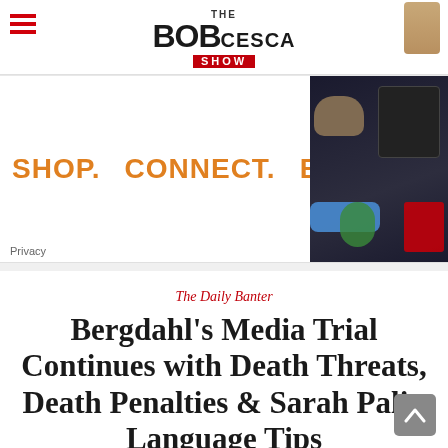THE BOB CESCA SHOW
[Figure (advertisement): Ad banner with text SHOP. CONNECT. ENJOY. and product images on the right side (black background with bag, gaming controller, shoes, smoothie, kitchen item). Privacy link at bottom left.]
The Daily Banter
Bergdahl's Media Trial Continues with Death Threats, Death Penalties & Sarah Palin Language Tips
8 years ago  •  0 Comments
I'm old enough to remember President Bush's first term when